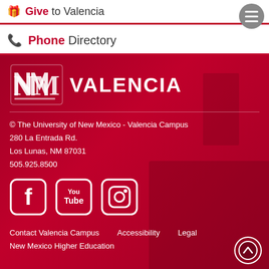Give to Valencia
Phone Directory
[Figure (logo): UNM Valencia campus logo with NMV interlocking letters and VALENCIA text in white on dark red background]
© The University of New Mexico - Valencia Campus
280 La Entrada Rd.
Los Lunas, NM 87031
505.925.8500
[Figure (infographic): Social media icons: Facebook, YouTube, Instagram in white on dark red background]
Contact Valencia Campus   Accessibility   Legal
New Mexico Higher Education